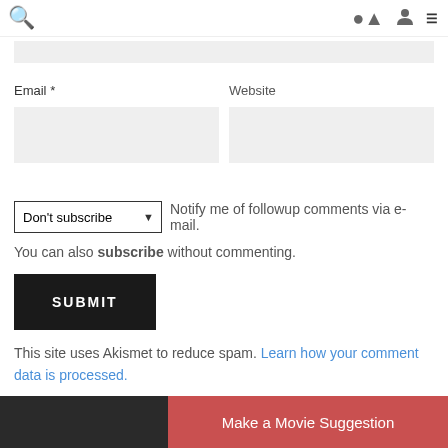Search / User / Menu icons
[Figure (screenshot): Gray input field bar (name field, partially visible at top of content area)]
Email *
[Figure (screenshot): Gray input field for Email]
Website
[Figure (screenshot): Gray input field for Website]
Don't subscribe  Notify me of followup comments via e-mail.
You can also subscribe without commenting.
SUBMIT
This site uses Akismet to reduce spam. Learn how your comment data is processed.
Make a Movie Suggestion